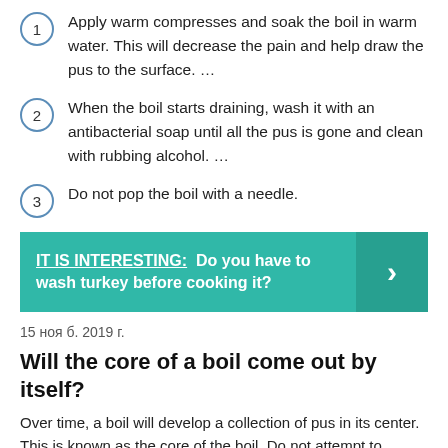Apply warm compresses and soak the boil in warm water. This will decrease the pain and help draw the pus to the surface. …
When the boil starts draining, wash it with an antibacterial soap until all the pus is gone and clean with rubbing alcohol. …
Do not pop the boil with a needle.
[Figure (infographic): Teal banner with text 'IT IS INTERESTING: Do you have to wash turkey before cooking it?' and a right-arrow chevron on a darker teal background on the right side.]
15 ноя б. 2019 г.
Will the core of a boil come out by itself?
Over time, a boil will develop a collection of pus in its center. This is known as the core of the boil. Do not attempt to remove the core at home as doing so can cause the